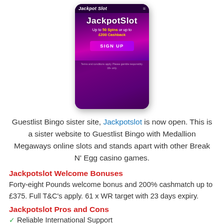[Figure (screenshot): Screenshot of JackpotSlot casino website on mobile, showing brand name, offer text 'Up to 50 Spins or up to £200 Cashback', and a pink SIGN UP button on a purple/pink background.]
Guestlist Bingo sister site, Jackpotslot is now open. This is a sister website to Guestlist Bingo with Medallion Megaways online slots and stands apart with other Break N' Egg casino games.
Jackpotslot Welcome Bonuses
Forty-eight Pounds welcome bonus and 200% cashmatch up to £375. Full T&C's apply. 61 x WR target with 23 days expiry.
Jackpotslot Pros and Cons
✓  Reliable International Support